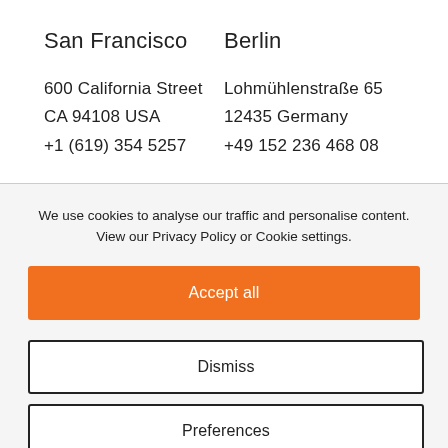San Francisco
600 California Street
CA 94108 USA
+1 (619) 354 5257
Berlin
Lohmühlenstraße 65
12435 Germany
+49 152 236 468 08
We use cookies to analyse our traffic and personalise content. View our Privacy Policy or Cookie settings.
Accept all
Dismiss
Preferences